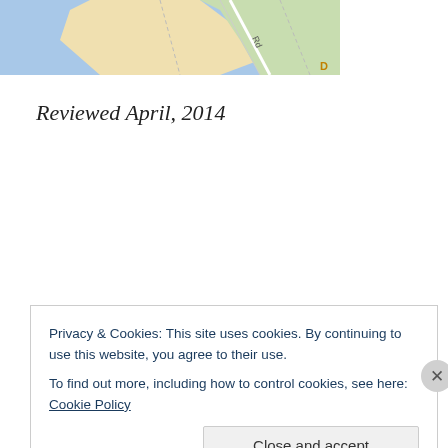[Figure (map): Partial map image cropped at top of page showing roads and geographic features with blue water area and tan/green land areas, with road label visible]
Reviewed April, 2014
Privacy & Cookies: This site uses cookies. By continuing to use this website, you agree to their use.
To find out more, including how to control cookies, see here: Cookie Policy
Close and accept